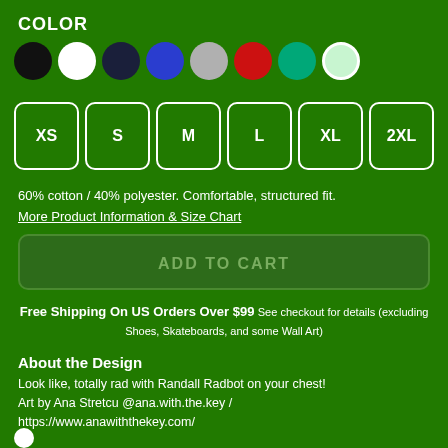COLOR
[Figure (infographic): Color swatches: black, white, navy, blue, gray, red, teal, light green (selected/highlighted with white border)]
[Figure (infographic): Size selector buttons: XS, S, M, L, XL, 2XL — outlined in white on green background]
60% cotton / 40% polyester. Comfortable, structured fit.
More Product Information & Size Chart
ADD TO CART
Free Shipping On US Orders Over $99 See checkout for details (excluding Shoes, Skateboards, and some Wall Art)
About the Design
Look like, totally rad with Randall Radbot on your chest!
Art by Ana Stretcu @ana.with.the.key /
https://www.anawiththekey.com/